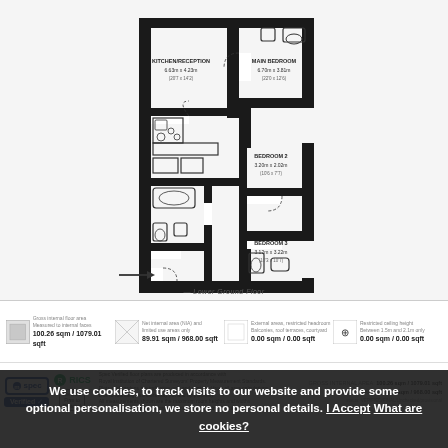[Figure (schematic): Architectural floor plan of a lower ground floor flat showing Kitchen/Reception (6.63m x 4.23m / 20'7 x 14'2), Main Bedroom (6.70m x 3.81m / 22'0 x 12'6), Bedroom 2 (3.20m x 2.02m / 10'6 x 7'7), and Bedroom 3 (3.12m x 3.22m / 10'3 x 10'7), with bathroom facilities indicated by dashed arc door swings and entry arrow.]
— Lower Ground Floor
100.26 sqm / 1079.01 sqft
89.91 sqm / 968.00 sqft
0.00 sqm / 0.00 sqft
0.00 sqm / 0.00 sqft
Spec Verified. RICS certified logos and disclaimer text about floor plan accuracy per Royal Institution of Chartered Surveyors Property Measurement Standards. Measurements shown are maximum points.
We use cookies, to track visits to our website and provide some optional personalisation, we store no personal details. I Accept What are cookies?